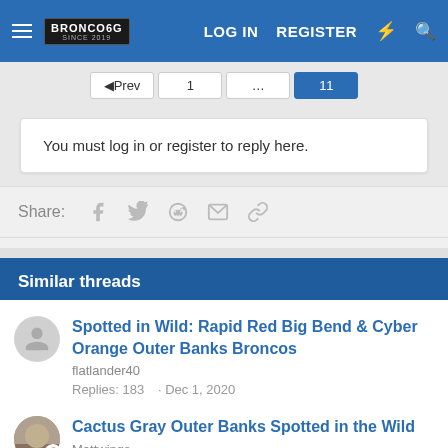Bronco6G.com - LOG IN  REGISTER
[Figure (screenshot): Pagination buttons: Prev, 1, ..., 11 (active)]
You must log in or register to reply here.
Share: (Facebook, Twitter, Reddit, Email, Link icons)
Similar threads
Spotted in Wild: Rapid Red Big Bend & Cyber Orange Outer Banks Broncos
flatlander40
Replies: 183 · Dec 1, 2020
Views: 47,681
Cactus Gray Outer Banks Spotted in the Wild
Mattwings